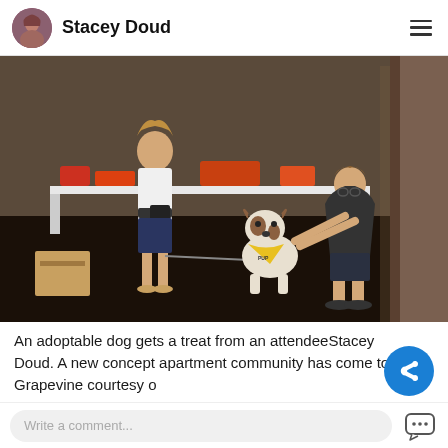Stacey Doud
[Figure (photo): Indoor event scene showing people with a dog. A white and brown dog wearing a yellow bandana sits on a dark floor. A woman in white tank top and navy shorts holds the leash. Another person in dark shirt bends down to give the dog a treat. In the background a woman in a blue dress stands near tables with various items. The setting appears to be an indoor adoption or community event.]
An adoptable dog gets a treat from an attendeeStacey Doud. A new concept apartment community has come to Grapevine courtesy o